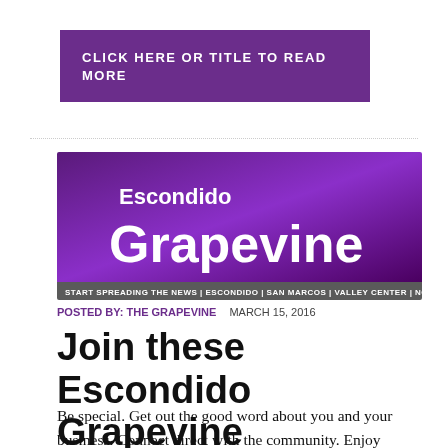CLICK HERE OR TITLE TO READ MORE
[Figure (logo): Escondido Grapevine newspaper banner logo with purple gradient background. Text: Escondido Grapevine. Tagline bar: START SPREADING THE NEWS | ESCONDIDO | SAN MARCOS | VALLEY CENTER | NORTH COUNTY]
POSTED BY: THE GRAPEVINE   MARCH 15, 2016
Join these Escondido Grapevine sponsors
Be special. Get out the good word about you and your business. Connect direct with the community. Enjoy special sponsorship and membership